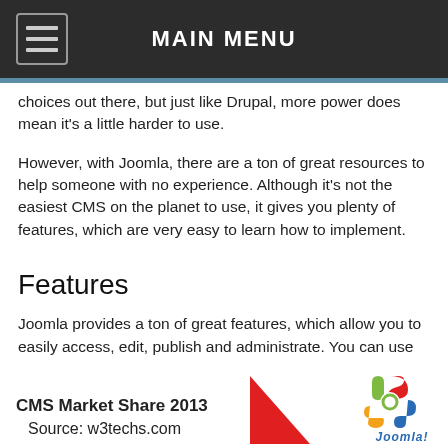MAIN MENU
choices out there, but just like Drupal, more power does mean it's a little harder to use.
However, with Joomla, there are a ton of great resources to help someone with no experience. Although it's not the easiest CMS on the planet to use, it gives you plenty of features, which are very easy to learn how to implement.
Features
Joomla provides a ton of great features, which allow you to easily access, edit, publish and administrate. You can use the media manager, banners, polls, search, categories, syndication, newsfeed, custom menus and so much more. Joomla has a ton of great custom features you can implement to make your site better.
CMS Market Share 2013
Source: w3techs.com
[Figure (logo): Joomla logo — colorful boomerang/swoosh shape with 'Joomla!' text below]